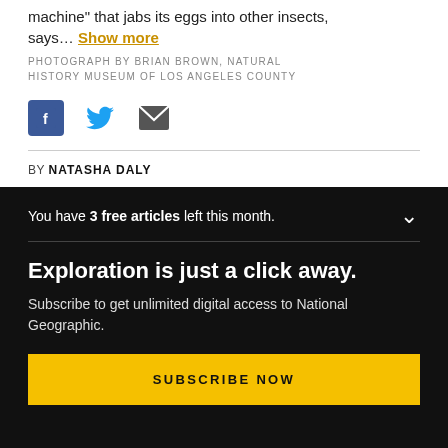machine” that jabs its eggs into other insects, says… Show more
PHOTOGRAPH BY BRIAN BROWN, NATURAL HISTORY MUSEUM OF LOS ANGELES COUNTY
[Figure (other): Social share icons: Facebook, Twitter, Email]
BY NATASHA DALY
You have 3 free articles left this month.
Exploration is just a click away.
Subscribe to get unlimited digital access to National Geographic.
SUBSCRIBE NOW